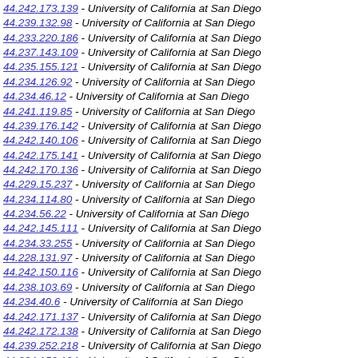44.242.173.139 - University of California at San Diego
44.239.132.98 - University of California at San Diego
44.233.220.186 - University of California at San Diego
44.237.143.109 - University of California at San Diego
44.235.155.121 - University of California at San Diego
44.234.126.92 - University of California at San Diego
44.234.46.12 - University of California at San Diego
44.241.119.85 - University of California at San Diego
44.239.176.142 - University of California at San Diego
44.242.140.106 - University of California at San Diego
44.242.175.141 - University of California at San Diego
44.242.170.136 - University of California at San Diego
44.229.15.237 - University of California at San Diego
44.234.114.80 - University of California at San Diego
44.234.56.22 - University of California at San Diego
44.242.145.111 - University of California at San Diego
44.234.33.255 - University of California at San Diego
44.228.131.97 - University of California at San Diego
44.242.150.116 - University of California at San Diego
44.238.103.69 - University of California at San Diego
44.234.40.6 - University of California at San Diego
44.242.171.137 - University of California at San Diego
44.242.172.138 - University of California at San Diego
44.239.252.218 - University of California at San Diego
44.234.158.124 - University of California at San Diego
44.231.77.43 - University of California at San Diego
44.236.18.240 - University of California at San Diego
44.240.117.83 - University of California at San Diego
44.238.231.197 - University of California at San Diego
44.236.48.14 - University of California at San Diego